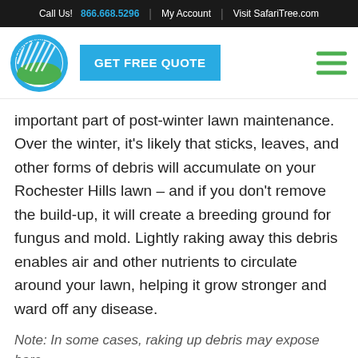Call Us! 866.668.5296 | My Account | Visit SafariTree.com
[Figure (logo): Lush Lawn circular logo with blue and green design]
GET FREE QUOTE
important part of post-winter lawn maintenance. Over the winter, it's likely that sticks, leaves, and other forms of debris will accumulate on your Rochester Hills lawn – and if you don't remove the build-up, it will create a breeding ground for fungus and mold. Lightly raking away this debris enables air and other nutrients to circulate around your lawn, helping it grow stronger and ward off any disease.
Note: In some cases, raking up debris may expose bare